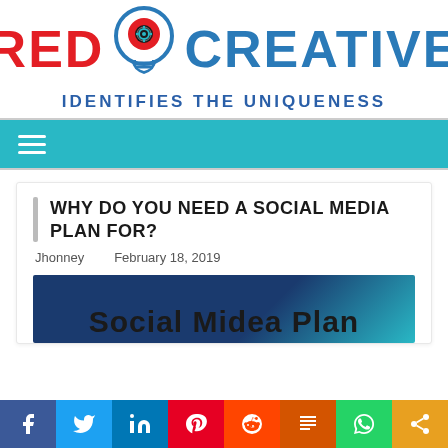[Figure (logo): Red Creative logo with lightbulb icon, red text 'RED' and blue text 'CREATIVE', tagline 'IDENTIFIES THE UNIQUENESS']
Navigation menu bar (hamburger icon on teal background)
WHY DO YOU NEED A SOCIAL MEDIA PLAN FOR?
Jhonney    February 18, 2019
[Figure (screenshot): Article preview image with dark blue/teal background showing text 'Social Midea Plan']
Social share buttons: Facebook, Twitter, LinkedIn, Pinterest, Reddit, Mix, WhatsApp, Share